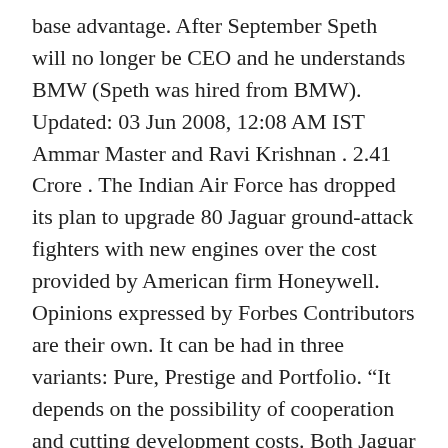base advantage. After September Speth will no longer be CEO and he understands BMW (Speth was hired from BMW). Updated: 03 Jun 2008, 12:08 AM IST Ammar Master and Ravi Krishnan . 2.41 Crore . The Indian Air Force has dropped its plan to upgrade 80 Jaguar ground-attack fighters with new engines over the cost provided by American firm Honeywell. Opinions expressed by Forbes Contributors are their own. It can be had in three variants: Pure, Prestige and Portfolio. “It depends on the possibility of cooperation and cutting development costs. Both Jaguar and Land Rover use too many so-called “platforms” and these need to be drastically cut to slash costs and shorten development times. Bet on not everything going electric, even if heavier taxes are placed on liquid fuels?” Wormald said. Neve. The ultimate all-electric performance SUV is coming to India. Read h...